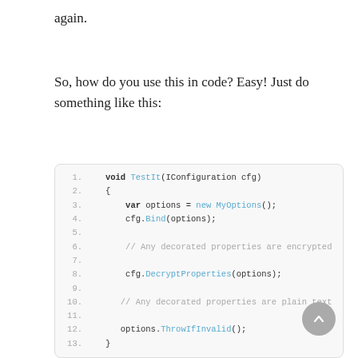again.
So, how do you use this in code? Easy! Just do something like this:
[Figure (screenshot): Code block showing a C# method TestIt(IConfiguration cfg) that binds options, decrypts properties, and calls ThrowIfInvalid()]